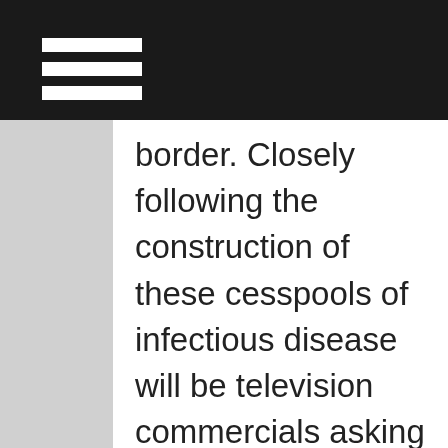border. Closely following the construction of these cesspools of infectious disease will be television commercials asking us to send money to help these poor people. But what will not be referenced is the devastating affect the introduction of illegal alien children into the public school system is now having. In March of 2010, 50 students and teachers at Lilburn Middle in Cwinnett County, GA., a suburb in Atlanta, tested positive for tuberculosis (TB) exposure, with four confirmed cases of active TB